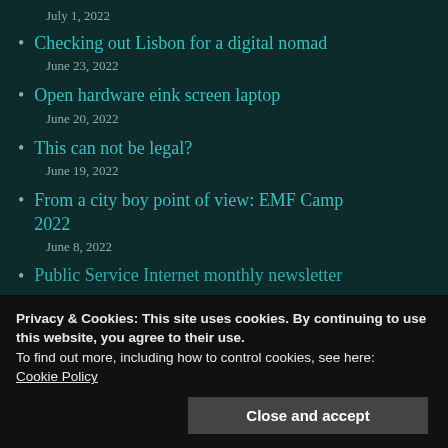July 1, 2022
Checking out Lisbon for a digital nomad
June 23, 2022
Open hardware eink screen laptop
June 20, 2022
This can not be legal?
June 19, 2022
From a city boy point of view: EMF Camp 2022
June 8, 2022
Public Service Internet monthly newsletter...
Privacy & Cookies: This site uses cookies. By continuing to use this website, you agree to their use.
To find out more, including how to control cookies, see here:
Cookie Policy
Close and accept